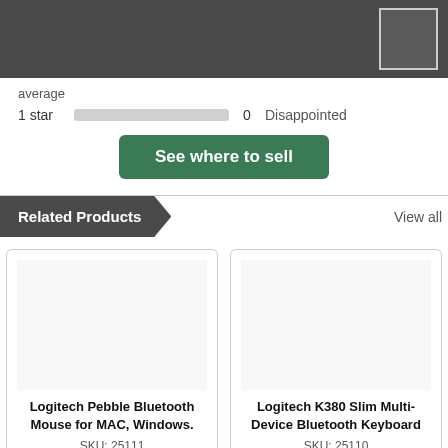[Figure (screenshot): Dark grey header bar with a lighter grey rectangle box in the top-right corner]
average
1 star  0  Disappointed
See where to sell
Related Products
View all
Logitech Pebble Bluetooth Mouse for MAC, Windows.
SKU: 25111
Logitech K380 Slim Multi-Device Bluetooth Keyboard
SKU: 25110